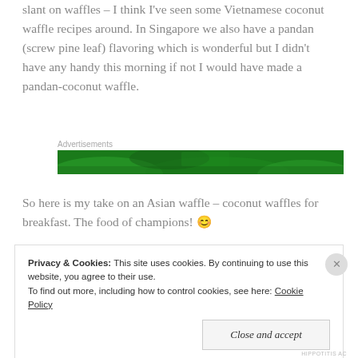slant on waffles – I think I've seen some Vietnamese coconut waffle recipes around. In Singapore we also have a pandan (screw pine leaf) flavoring which is wonderful but I didn't have any handy this morning if not I would have made a pandan-coconut waffle.
[Figure (other): Green advertisement banner with curved decorative shapes]
So here is my take on an Asian waffle – coconut waffles for breakfast. The food of champions! 😊
Privacy & Cookies: This site uses cookies. By continuing to use this website, you agree to their use. To find out more, including how to control cookies, see here: Cookie Policy
HIPPOTITIS AC